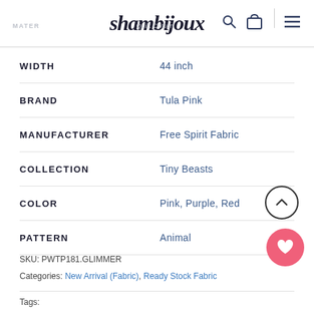shambijoux — MATERIAL: Quilt Cotton
| Property | Value |
| --- | --- |
| WIDTH | 44 inch |
| BRAND | Tula Pink |
| MANUFACTURER | Free Spirit Fabric |
| COLLECTION | Tiny Beasts |
| COLOR | Pink, Purple, Red |
| PATTERN | Animal |
SKU: PWTP181.GLIMMER
Categories: New Arrival (Fabric), Ready Stock Fabric
Tags: